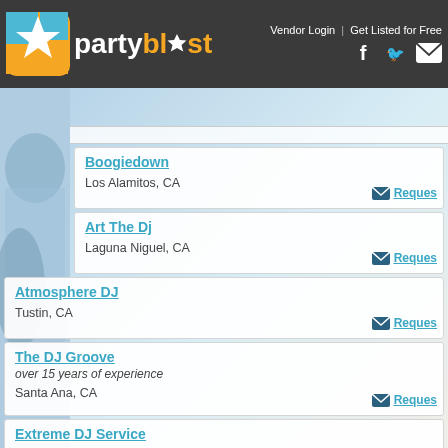partyblast | Vendor Login | Get Listed for Free
Boogiedown — Los Alamitos, CA
Art The Dj — Laguna Niguel, CA
Atmosphere DJ — Tustin, CA
The DJ Groove — over 15 years of experience — Santa Ana, CA
Extreme DJ Service — Laguna Niguel, CA
Extreme DJ Service — Extreme DJ Service is a full-service company with ten disc jockeys in the...